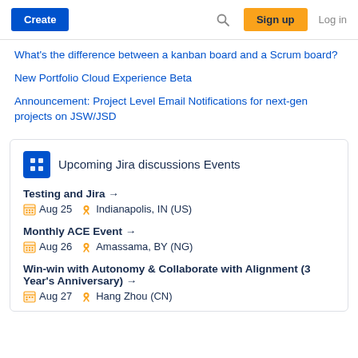Create | Search | Sign up | Log in
What's the difference between a kanban board and a Scrum board?
New Portfolio Cloud Experience Beta
Announcement: Project Level Email Notifications for next-gen projects on JSW/JSD
Upcoming Jira discussions Events
Testing and Jira → Aug 25 Indianapolis, IN (US)
Monthly ACE Event → Aug 26 Amassama, BY (NG)
Win-win with Autonomy & Collaborate with Alignment (3 Year's Anniversary) → Aug 27 Hang Zhou (CN)